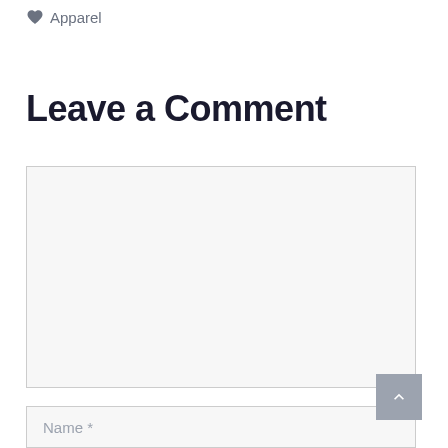Apparel
Leave a Comment
[Figure (screenshot): Empty comment textarea form field with light gray background and resize handle in bottom right corner]
[Figure (screenshot): Name input field with placeholder text 'Name *' and light gray background]
[Figure (screenshot): Back to top button - gray square button with upward chevron arrow]